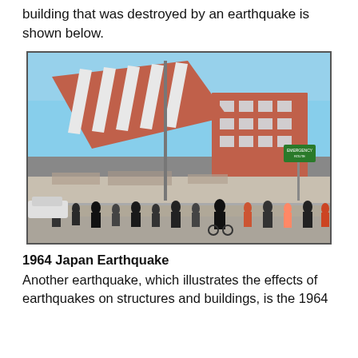building that was destroyed by an earthquake is shown below.
[Figure (photo): Photograph of a large multi-story building that has collapsed and tilted sideways due to an earthquake, with crowds of people gathered in the street in front of it.]
1964 Japan Earthquake
Another earthquake, which illustrates the effects of earthquakes on structures and buildings, is the 1964